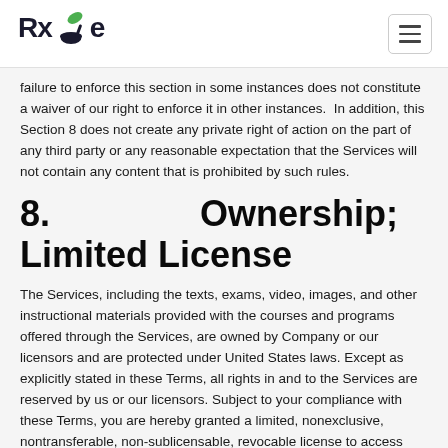RxGe
failure to enforce this section in some instances does not constitute a waiver of our right to enforce it in other instances.  In addition, this Section 8 does not create any private right of action on the part of any third party or any reasonable expectation that the Services will not contain any content that is prohibited by such rules.
8.               Ownership; Limited License
The Services, including the texts, exams, video, images, and other instructional materials provided with the courses and programs offered through the Services, are owned by Company or our licensors and are protected under United States laws. Except as explicitly stated in these Terms, all rights in and to the Services are reserved by us or our licensors. Subject to your compliance with these Terms, you are hereby granted a limited, nonexclusive, nontransferable, non-sublicensable, revocable license to access and use our Services for